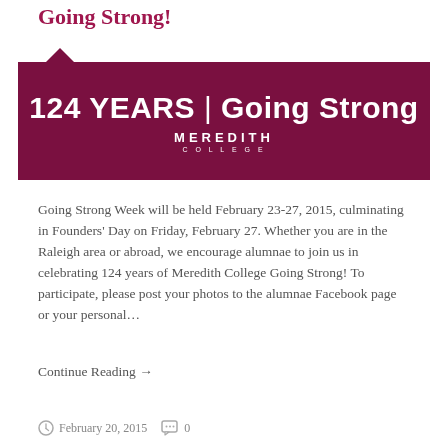Going Strong!
[Figure (infographic): Dark maroon banner with white text reading '124 YEARS | Going Strong' and 'MEREDITH COLLEGE' logo below, with a downward-pointing notch at top-left]
Going Strong Week will be held February 23-27, 2015, culminating in Founders' Day on Friday, February 27. Whether you are in the Raleigh area or abroad, we encourage alumnae to join us in celebrating 124 years of Meredith College Going Strong! To participate, please post your photos to the alumnae Facebook page or your personal...
Continue Reading →
February 20, 2015   o